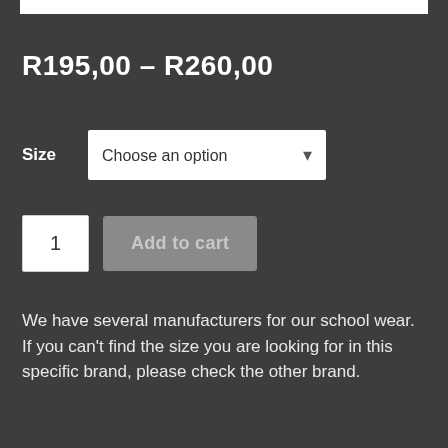R195,00 – R260,00
Size  Choose an option
1  Add to cart
We have several manufacturers for our school wear. If you can't find the size you are looking for in this specific brand, please check the other brand.